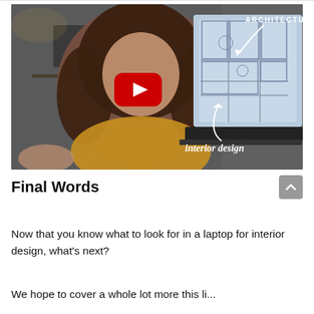[Figure (screenshot): YouTube video thumbnail showing a woman with curly hair in front of a laptop displaying architecture/floor plan drawings, with a YouTube play button overlay, text 'ARCHITECTURE' in upper right and 'interior design' in lower right with decorative arrows]
Final Words
Now that you know what to look for in a laptop for interior design, what's next?
We hope to cover a whole lot more this li...